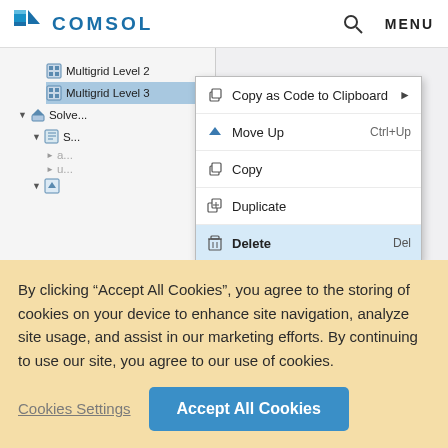[Figure (screenshot): COMSOL website header and software interface screenshot showing a tree view with Multigrid Level 2 and Multigrid Level 3 nodes, and a right-click context menu with options: Copy as Code to Clipboard, Move Up (Ctrl+Up), Copy, Duplicate, Delete (Del highlighted in blue).]
By clicking “Accept All Cookies”, you agree to the storing of cookies on your device to enhance site navigation, analyze site usage, and assist in our marketing efforts. By continuing to use our site, you agree to our use of cookies.
Cookies Settings
Accept All Cookies